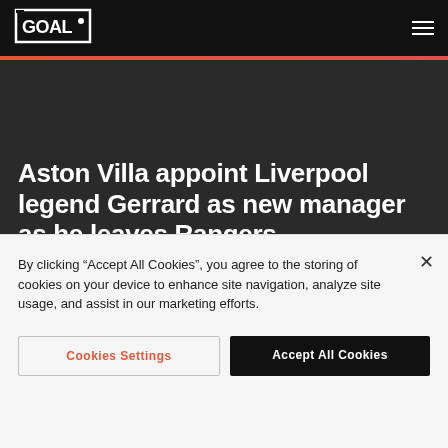GOAL
Aston Villa appoint Liverpool legend Gerrard as new manager as he leaves Rangers
James Westwood
By clicking “Accept All Cookies”, you agree to the storing of cookies on your device to enhance site navigation, analyze site usage, and assist in our marketing efforts.
Cookies Settings
Accept All Cookies